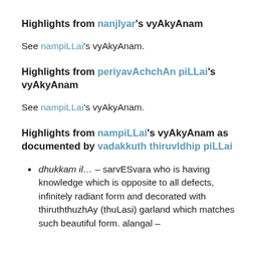Highlights from nanjIyar's vyAkyAnam
See nampiLLai's vyAkyAnam.
Highlights from periyavAchchAn piLLai's vyAkyAnam
See nampiLLai's vyAkyAnam.
Highlights from nampiLLai's vyAkyAnam as documented by vadakkuth thiruvIdhip piLLai
dhukkam il… – sarvESvara who is having knowledge which is opposite to all defects, infinitely radiant form and decorated with thiruththuzhAy (thuLasi) garland which matches such beautiful form. alangal –